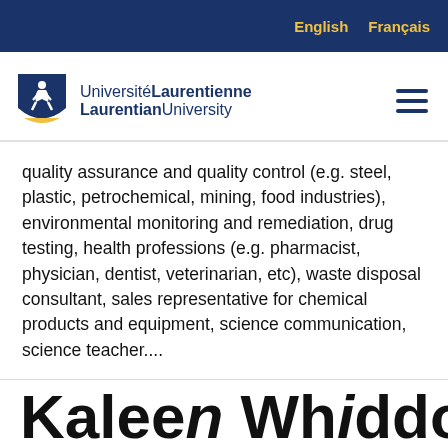English   Français
[Figure (logo): Laurentian University / Université Laurentienne shield logo with text]
quality assurance and quality control (e.g. steel, plastic, petrochemical, mining, food industries), environmental monitoring and remediation, drug testing, health professions (e.g. pharmacist, physician, dentist, veterinarian, etc), waste disposal consultant, sales representative for chemical products and equipment, science communication, science teacher....
Kaleen Whiddon